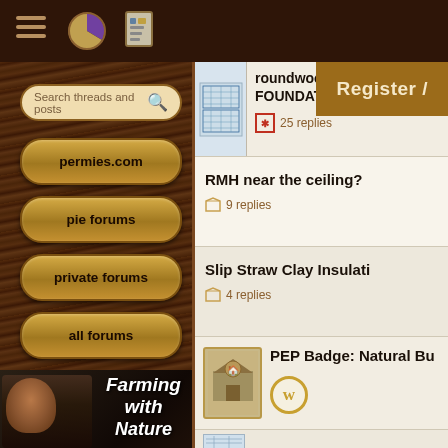permies.com navigation header with hamburger menu, pie icon, document icon
Register /
Search threads and posts
permies.com
pie forums
private forums
all forums
[Figure (photo): Farming with Nature - promotional image showing an elderly man with text overlay]
roundwood reciprocal FOUNDATIONS???
25 replies
RMH near the ceiling?
9 replies
Slip Straw Clay Insulati
4 replies
[Figure (photo): PEP Badge thumbnail - natural building badge with house icon]
PEP Badge: Natural Bu
[Figure (screenshot): Blueprint/floor plan thumbnail at bottom]